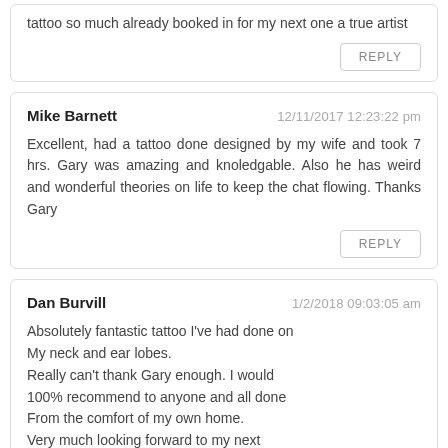tattoo so much already booked in for my next one a true artist
REPLY
Mike Barnett
12/11/2017 12:23:22 pm
Excellent, had a tattoo done designed by my wife and took 7 hrs. Gary was amazing and knoledgable. Also he has weird and wonderful theories on life to keep the chat flowing. Thanks Gary
REPLY
Dan Burvill
1/2/2018 09:03:05 am
Absolutely fantastic tattoo I've had done on My neck and ear lobes. Really can't thank Gary enough. I would 100% recommend to anyone and all done From the comfort of my own home. Very much looking forward to my next booking and thank you once again 😀